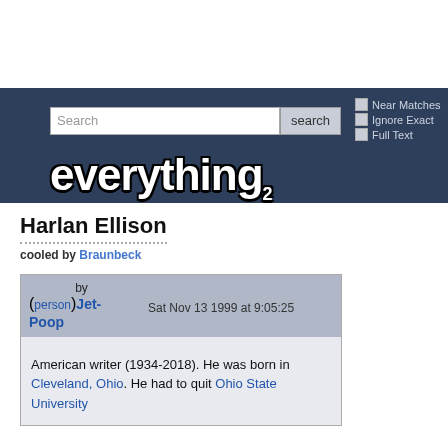[Figure (screenshot): Everything2 website header with search bar and logo on dark blue background]
Harlan Ellison
cooled by Braunbeck
by (person)Jet-Poop   Sat Nov 13 1999 at 9:05:25
American writer (1934-2018). He was born in Cleveland, Ohio. He had to quit Ohio State University